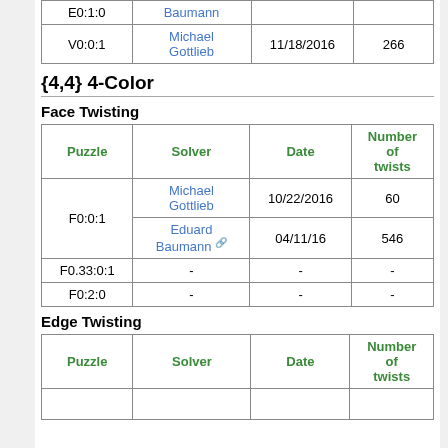| Puzzle | Solver | Date | Number of twists |
| --- | --- | --- | --- |
| E0:1:0 | Baumann |  |  |
| V0:0:1 | Michael Gottlieb | 11/18/2016 | 266 |
{4,4} 4-Color
Face Twisting
| Puzzle | Solver | Date | Number of twists |
| --- | --- | --- | --- |
| F0:0:1 | Michael Gottlieb | 10/22/2016 | 60 |
| F0:0:1 | Eduard Baumann | 04/11/16 | 546 |
| F0.33:0:1 | - | - | - |
| F0:2:0 | - | - | - |
Edge Twisting
| Puzzle | Solver | Date | Number of twists |
| --- | --- | --- | --- |